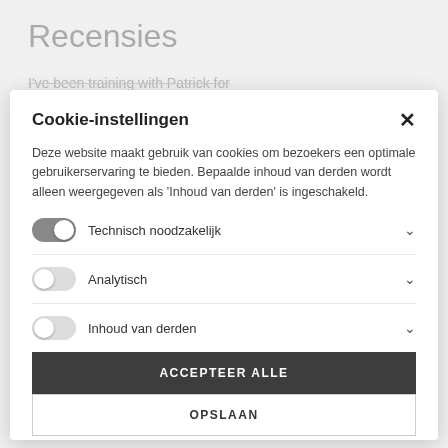Recensies
I've been training with Patrick for
Cookie-instellingen
Deze website maakt gebruik van cookies om bezoekers een optimale gebruikerservaring te bieden. Bepaalde inhoud van derden wordt alleen weergegeven als 'Inhoud van derden' is ingeschakeld.
Technisch noodzakelijk
Analytisch
Inhoud van derden
ACCEPTEER ALLE
OPSLAAN